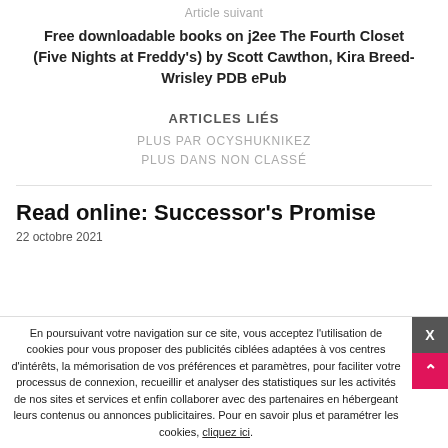Article suivant
Free downloadable books on j2ee The Fourth Closet (Five Nights at Freddy's) by Scott Cawthon, Kira Breed-Wrisley PDB ePub
ARTICLES LIÉS
PLUS PAR OCYSHUKNIKEZ
PLUS DANS NON CLASSÉ
Read online: Successor's Promise
22 octobre 2021
En poursuivant votre navigation sur ce site, vous acceptez l'utilisation de cookies pour vous proposer des publicités ciblées adaptées à vos centres d'intérêts, la mémorisation de vos préférences et paramètres, pour faciliter votre processus de connexion, recueillir et analyser des statistiques sur les activités de nos sites et services et enfin collaborer avec des partenaires en hébergeant leurs contenus ou annonces publicitaires. Pour en savoir plus et paramétrer les cookies, cliquez ici.